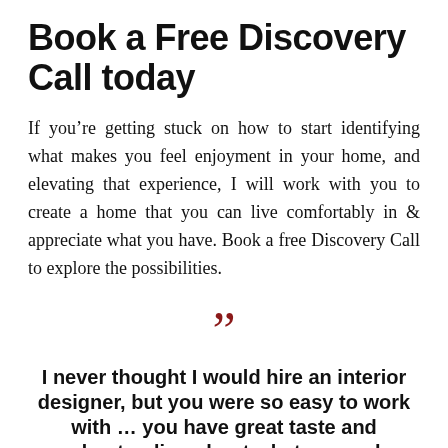Book a Free Discovery Call today
If you're getting stuck on how to start identifying what makes you feel enjoyment in your home, and elevating that experience, I will work with you to create a home that you can live comfortably in & appreciate what you have. Book a free Discovery Call to explore the possibilities.
”
I never thought I would hire an interior designer, but you were so easy to work with ... you have great taste and understanding about what can make rooms feel